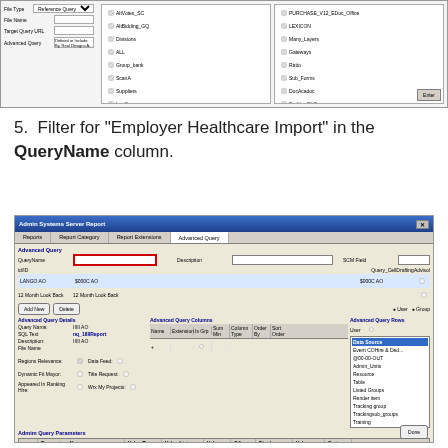[Figure (screenshot): Admin Systems Server Report dialog - top portion showing file type, file name, target query URL, and advanced query fields with checkboxes for various column options]
5. Filter for "Employer Healthcare Import" in the QueryName column.
[Figure (screenshot): Admin Systems Server Report dialog - showing Advanced Query tab with QueryName field highlighted in red box, query details panel, advanced query columns, and parameters section at bottom with rows including @caCategoryKey, @DraftingSupplierSite.OldList, @DraftingSupplierOldList, and @Form @FormID entries]